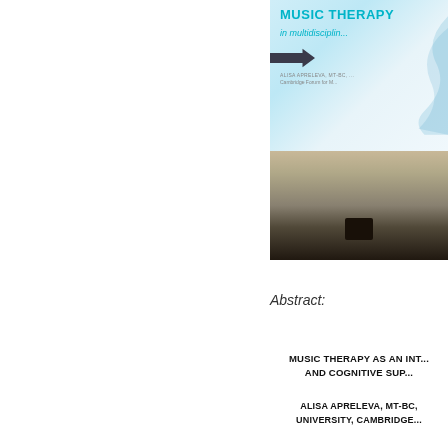[Figure (photo): Photograph of a conference presentation showing a projected slide reading 'MUSIC THERAPY in multidisciplin...' by Alisa Apreleva, with a podium visible in the foreground and the presenter standing at a dark lectern.]
Abstract:
MUSIC THERAPY AS AN INT... AND COGNITIVE SUP...
ALISA APRELEVA, MT-BC,
UNIVERSITY, CAMBRIDGE